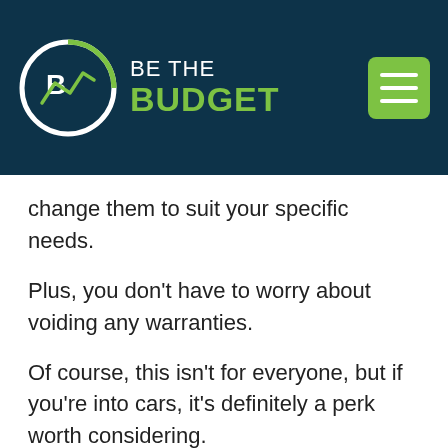BE THE BUDGET
change them to suit your specific needs.
Plus, you don't have to worry about voiding any warranties.
Of course, this isn't for everyone, but if you're into cars, it's definitely a perk worth considering.
Old Cars Can Be A Fun Experience
If you're looking for a unique driving experience,